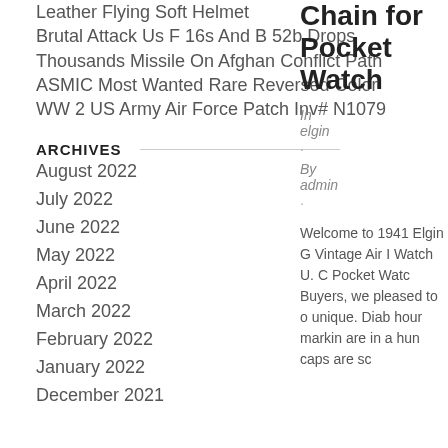Leather Flying Soft Helmet
Brutal Attack Us F 16s And B 52b Drops Thousands Missile On Afghan Conflict Path
ASMIC Most Wanted Rare Reversed Color WW 2 US Army Air Force Patch Inv# N1079
ARCHIVES
August 2022
July 2022
June 2022
May 2022
April 2022
March 2022
February 2022
January 2022
December 2021
Chain for Pocket Watch
In
elgin
·
By
admin
·
Welcome to 1941 Elgin G Vintage Air I Watch U. C Pocket Watc Buyers, we pleased to o unique. Diab hour markin are in a hun caps are sc